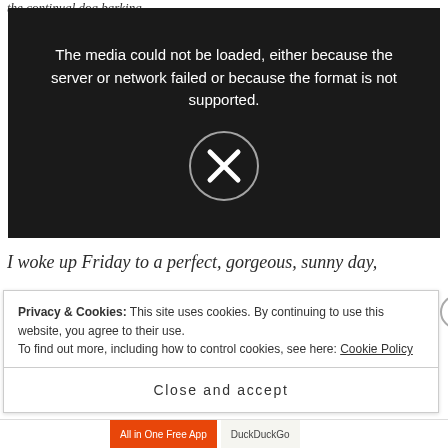the continual dog barking.
[Figure (screenshot): Video player showing error message: 'The media could not be loaded, either because the server or network failed or because the format is not supported.' with an X icon circle in the center, on a dark background.]
I woke up Friday to a perfect, gorgeous, sunny day,
Privacy & Cookies: This site uses cookies. By continuing to use this website, you agree to their use.
To find out more, including how to control cookies, see here: Cookie Policy
Close and accept